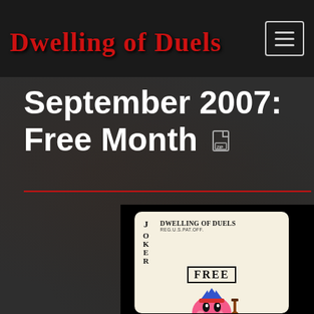Dwelling of Duels
September 2007: Free Month
[Figure (illustration): Album cover art for Dwelling of Duels September 2007 Free Month compilation. A playing card styled image on cream/ivory background featuring gothic text 'JOKER', 'DWELLING OF DUELS REG.U.S.PAT.OFF.' and 'FREE' with Kirby holding a guitar.]